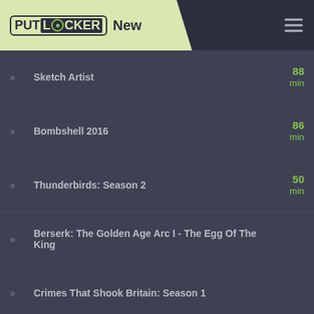PUTLOCKER New
Sketch Artist
Bombshell 2016
Thunderbirds: Season 2
Berserk: The Golden Age Arc I - The Egg Of The King
Crimes That Shook Britain: Season 1
It's A Rockabilly World!
Amundsen